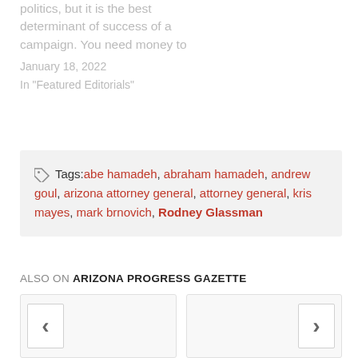politics, but it is the best determinant of success of a campaign. You need money to
January 18, 2022
In "Featured Editorials"
Tags: abe hamadeh, abraham hamadeh, andrew goul, arizona attorney general, attorney general, kris mayes, mark brnovich, Rodney Glassman
ALSO ON ARIZONA PROGRESS GAZETTE
[Figure (other): Two article card placeholders with left arrow navigation button on left card and right arrow navigation button on right card]